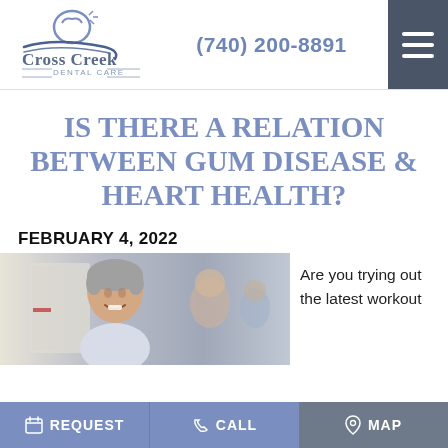[Figure (logo): Cross Creek Dental Care logo with tooth icon and blue swoosh]
(740) 200-8891
IS THERE A RELATION BETWEEN GUM DISEASE & HEART HEALTH?
FEBRUARY 4, 2022
[Figure (photo): Smiling middle-aged man with grey hair in a gym or indoor setting, with other people in background]
Are you trying out the latest workout
REQUEST   CALL   MAP